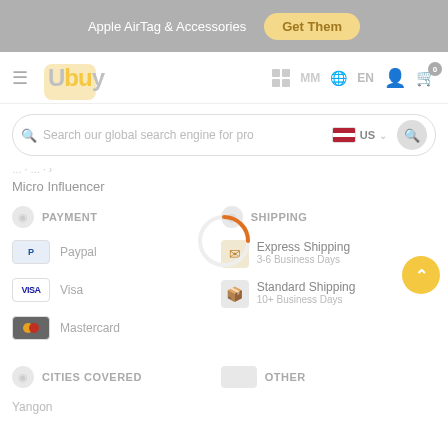[Figure (screenshot): E-commerce website screenshot showing Ubuy marketplace with Apple AirTag banner, navigation bar, search bar, payment methods (Paypal, Visa, Mastercard), shipping options (Express Shipping 3-6 Business Days, Standard Shipping 10+ Business Days), cities covered section, and other section.]
Apple AirTag & Accessories
Get Them
Ubuy
MM
EN
0
Search our global search engine for pro
US
Micro Influencer
PAYMENT
Paypal
Visa
Mastercard
SHIPPING
Express Shipping
3-6 Business Days
Standard Shipping
10+ Business Days
CITIES COVERED
OTHER
Yangon